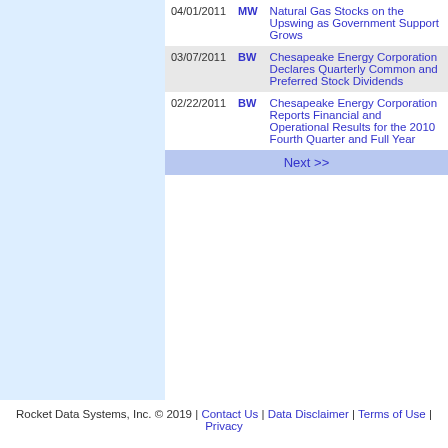| Date | Source | Headline |
| --- | --- | --- |
| 04/01/2011 | MW | Natural Gas Stocks on the Upswing as Government Support Grows |
| 03/07/2011 | BW | Chesapeake Energy Corporation Declares Quarterly Common and Preferred Stock Dividends |
| 02/22/2011 | BW | Chesapeake Energy Corporation Reports Financial and Operational Results for the 2010 Fourth Quarter and Full Year |
|  |  | Next >> |
Rocket Data Systems, Inc. © 2019 | Contact Us | Data Disclaimer | Terms of Use | Privacy